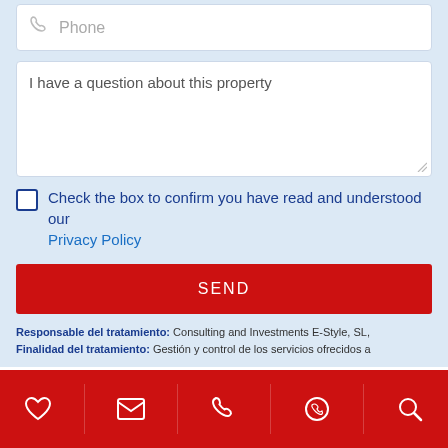Phone
I have a question about this property
Check the box to confirm you have read and understood our Privacy Policy
SEND
Responsable del tratamiento: Consulting and Investments E-Style, SL, Finalidad del tratamiento: Gestión y control de los servicios ofrecidos a
ENERGY RATING
[Figure (infographic): Energy rating badge showing grade A in green arrow shape]
Navigation toolbar with heart, email, phone, WhatsApp, and search icons